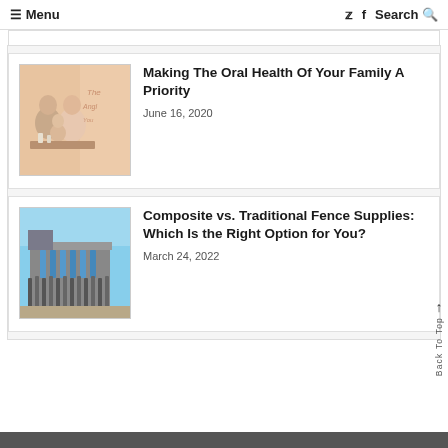☰ Menu  🐦 f  Search 🔍
[Figure (photo): Photo of a family (man, woman, children) seated at a table with a pinkish decorative background and script text]
Making The Oral Health Of Your Family A Priority
June 16, 2020
[Figure (photo): Photo of a modern building exterior with vertical fence/slat panels and blue sky background]
Composite vs. Traditional Fence Supplies: Which Is the Right Option for You?
March 24, 2022
Back To Top